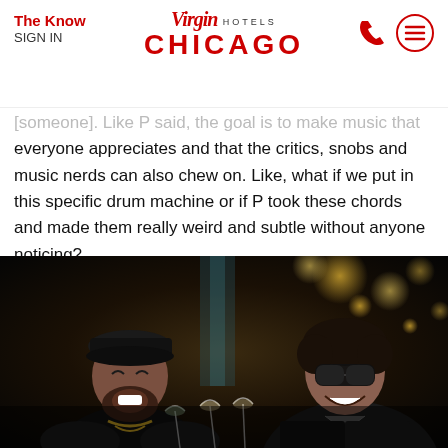The Know | SIGN IN | Virgin Hotels CHICAGO
[someone]. Like P said, the goal is to make music that everyone appreciates and that the critics, snobs and music nerds can also chew on. Like, what if we put in this specific drum machine or if P took these chords and made them really weird and subtle without anyone noticing?
Patrick: It’s just for the peers to understand. We’ve built a whole career on cred[ibility] for the last 15 years and now we need to keep that mystery, but still please everybody else.
[Figure (photo): Two men laughing and talking at what appears to be a bar or restaurant setting with bokeh lights in the background. The man on the left has a beard and is wearing a black cap and jacket with a gold chain. The man on the right is wearing sunglasses and a black jacket.]